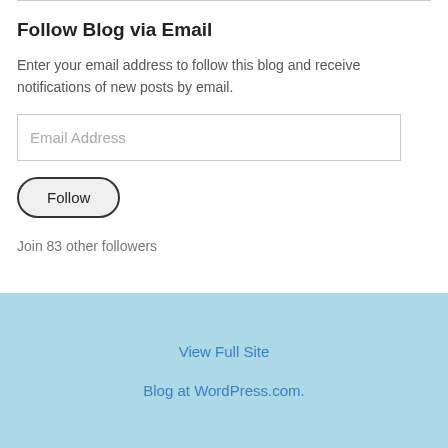Follow Blog via Email
Enter your email address to follow this blog and receive notifications of new posts by email.
Email Address
Follow
Join 83 other followers
View Full Site
Blog at WordPress.com.